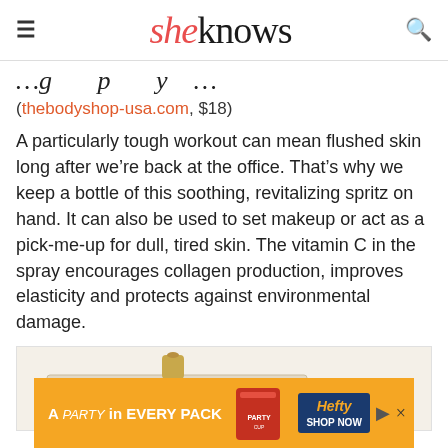sheknows
(partial title visible)
(thebodyshop-usa.com, $18)
A particularly tough workout can mean flushed skin long after we’re back at the office. That’s why we keep a bottle of this soothing, revitalizing spritz on hand. It can also be used to set makeup or act as a pick-me-up for dull, tired skin. The vitamin C in the spray encourages collagen production, improves elasticity and protects against environmental damage.
[Figure (photo): Product image of a body spray bottle]
[Figure (other): Advertisement banner: Hefty - A PARTY in EVERY PACK]